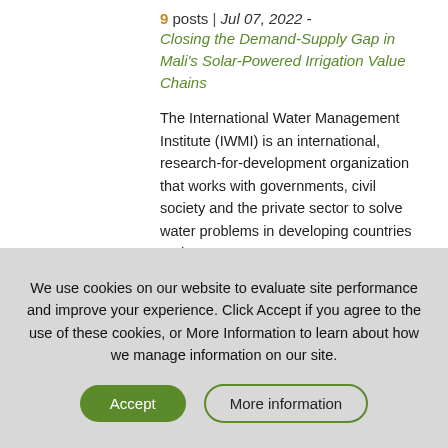9 posts | Jul 07, 2022 - Closing the Demand-Supply Gap in Mali's Solar-Powered Irrigation Value Chains
The International Water Management Institute (IWMI) is an international, research-for-development organization that works with governments, civil society and the private sector to solve water problems in developing countries and...
We use cookies on our website to evaluate site performance and improve your experience. Click Accept if you agree to the use of these cookies, or More Information to learn about how we manage information on our site.
Accept
More information